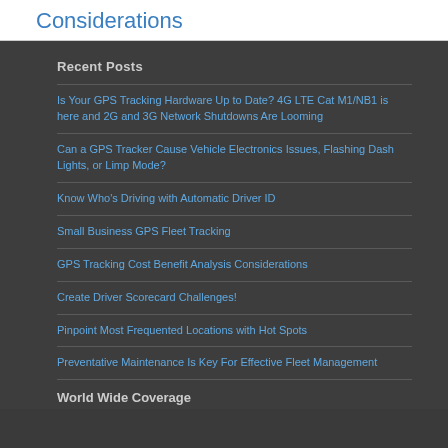Considerations
Recent Posts
Is Your GPS Tracking Hardware Up to Date? 4G LTE Cat M1/NB1 is here and 2G and 3G Network Shutdowns Are Looming
Can a GPS Tracker Cause Vehicle Electronics Issues, Flashing Dash Lights, or Limp Mode?
Know Who's Driving with Automatic Driver ID
Small Business GPS Fleet Tracking
GPS Tracking Cost Benefit Analysis Considerations
Create Driver Scorecard Challenges!
Pinpoint Most Frequented Locations with Hot Spots
Preventative Maintenance Is Key For Effective Fleet Management
World Wide Coverage